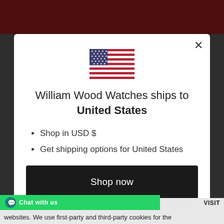[Figure (screenshot): US flag SVG illustration centered in modal]
William Wood Watches ships to United States
Shop in USD $
Get shipping options for United States
Shop now
Change shipping country
websites. We use first-party and third-party cookies for the